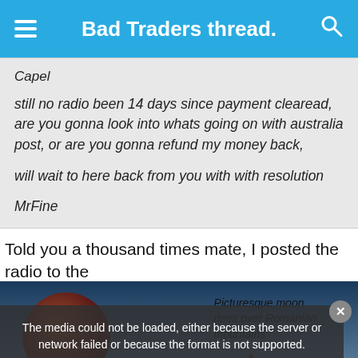Bad Traders thread.
Capel

still no radio been 14 days since payment clearead, are you gonna look into whats going on with australia post, or are you gonna refund my money back,

will wait to here back from you with with resolution

MrFine
Told you a thousand times mate, I posted the radio to the
[Figure (screenshot): Media player overlay showing error message: 'The media could not be loaded, either because the server or network failed or because the format is not supported.' with moon image and text 'Picturesque moon rises over Romanian mountains']